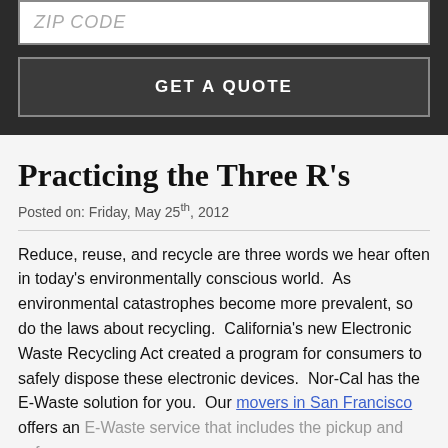ZIP CODE
GET A QUOTE
Practicing the Three R's
Posted on: Friday, May 25th, 2012
Reduce, reuse, and recycle are three words we hear often in today's environmentally conscious world.  As environmental catastrophes become more prevalent, so do the laws about recycling.  California's new Electronic Waste Recycling Act created a program for consumers to safely dispose these electronic devices.  Nor-Cal has the E-Waste solution for you.  Our movers in San Francisco offers an E-Waste service that includes the pickup and safe
equipment in the bay area.